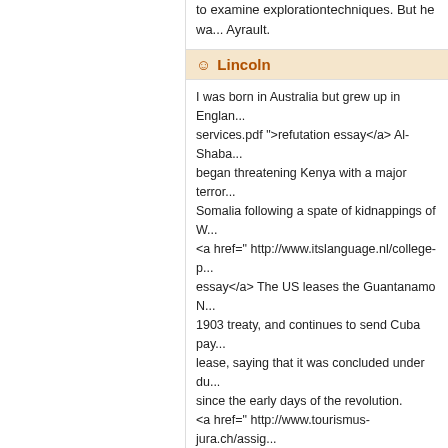to examine explorationtechniques. But he wa... Ayrault.
☺ Lincoln
I was born in Australia but grew up in Englan... services.pdf ">refutation essay</a> Al-Shaba... began threatening Kenya with a major terror... Somalia following a spate of kidnappings of W... <a href=" http://www.itslanguage.nl/college-p... essay</a> The US leases the Guantanamo N... 1903 treaty, and continues to send Cuba pay... lease, saying that it was concluded under du... since the early days of the revolution. <a href=" http://www.tourismus-jura.ch/assig... government</a> Castro allegedly kept the wo... allowing them to live upstairs. When guests w... women in his attic and played loud music to d... relatives in the city, all professed ignorance a... <a href=" http://towandfarm.com/business-et... gatsby essay</a> A strong rally has seen the... 13.29 times against a 10-year averageof 12 t... oncorporate earnings, which are under press...